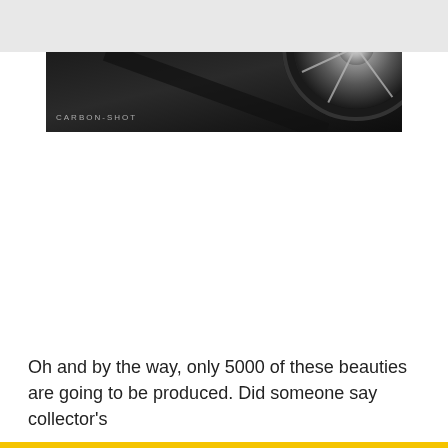[Figure (photo): Black and white photograph showing a car wheel/tire detail with chrome spokes, shot against a dark diagonal shadow background. Text 'CARBON-SHOT' visible in lower left corner.]
Oh and by the way, only 5000 of these beauties are going to be produced. Did someone say collector's